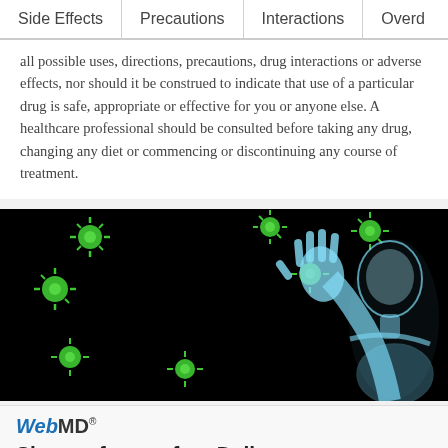Side Effects | Precautions | Interactions | Overd…
all possible uses, directions, precautions, drug interactions or adverse effects, nor should it be construed to indicate that use of a particular drug is safe, appropriate or effective for you or anyone else. A healthcare professional should be consulted before taking any drug, changing any diet or commencing or discontinuing any course of treatment.
[Figure (photo): Medical illustration of a blue glowing human skeleton/body raising a hand against floating green virus particles on a black background]
[Figure (logo): WebMD logo followed by partial text 'Sign up for our free Daily']